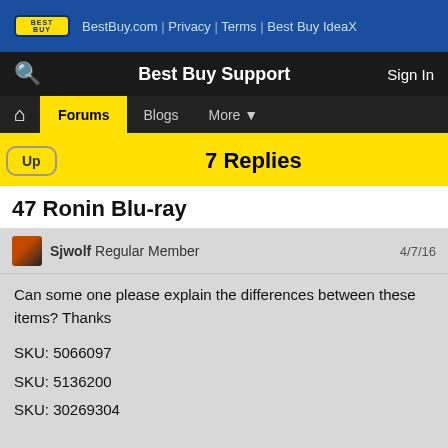BestBuy.com | Privacy | Terms | Best Buy IdeaX
Best Buy Support | Sign In
Forums | Blogs | More
7 Replies
47 Ronin Blu-ray
Sjwolf Regular Member   4/7/16
Can some one please explain the differences between these items? Thanks

SKU: 5066097
SKU: 5136200
SKU: 30269304
Add Comment   Kudo 0
richmoral Recognized Member   4/8/16